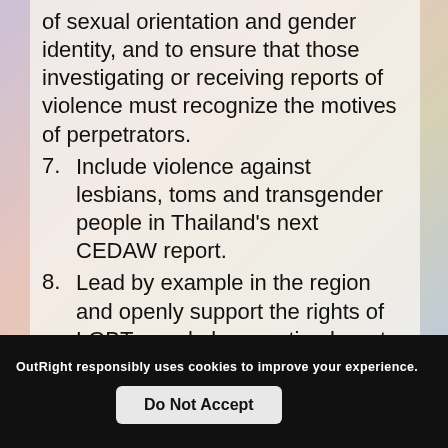of sexual orientation and gender identity, and to ensure that those investigating or receiving reports of violence must recognize the motives of perpetrators.
7. Include violence against lesbians, toms and transgender people in Thailand's next CEDAW report.
8. Lead by example in the region and openly support the rights of LGBT people by enacting laws to implement Article 30 (the anti-discrimination clause) of the 2007 Constitution of the Kingdom of Thailand B.E. 2550.
OutRight responsibly uses cookies to improve your experience.
Do Not Accept